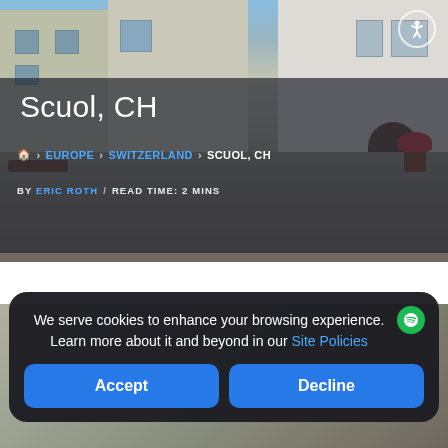[Figure (photo): Street scene in Scuol, Switzerland showing traditional Alpine buildings with a cobblestone path. Semi-transparent dark overlay covers the lower portion of the hero image.]
Scuol, CH
🏠 > EUROPE > SWITZERLAND > SCUOL, CH
BY ERIC ROTH / READ TIME: 2 MINS
[Figure (photo): Second partial photo of Scuol, CH street scene partially obscured by cookie banner overlay]
We serve cookies to enhance your browsing experience. Learn more about it and beyond in our Site Policies
Accept
Decline